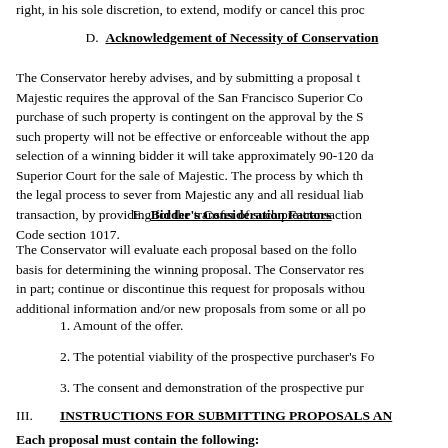right, in his sole discretion, to extend, modify or cancel this proc
D.  Acknowledgement of Necessity of Conservation
The Conservator hereby advises, and by submitting a proposal t Majestic requires the approval of the San Francisco Superior Co purchase of such property is contingent on the approval by the S such property will not be effective or enforceable without the app selection of a winning bidder it will take approximately 90-120 da Superior Court for the sale of Majestic. The process by which th the legal process to sever from Majestic any and all residual liab transaction, by providing for the transfer of such pre-transaction Code section 1017.
E.  Bidder's Consideration Factors
The Conservator will evaluate each proposal based on the follo basis for determining the winning proposal. The Conservator res in part; continue or discontinue this request for proposals withou additional information and/or new proposals from some or all po
1. Amount of the offer.
2. The potential viability of the prospective purchaser's Fo
3. The consent and demonstration of the prospective pur
III.        INSTRUCTIONS FOR SUBMITTING PROPOSALS AN
Each proposal must contain the following: